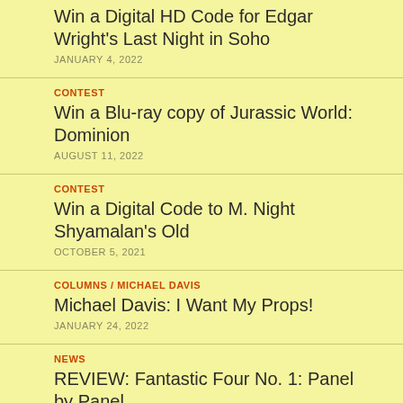Win a Digital HD Code for Edgar Wright's Last Night in Soho
JANUARY 4, 2022
CONTEST
Win a Blu-ray copy of Jurassic World: Dominion
AUGUST 11, 2022
CONTEST
Win a Digital Code to M. Night Shyamalan's Old
OCTOBER 5, 2021
COLUMNS / MICHAEL DAVIS
Michael Davis: I Want My Props!
JANUARY 24, 2022
NEWS
REVIEW: Fantastic Four No. 1: Panel by Panel
NOVEMBER 15, 2021